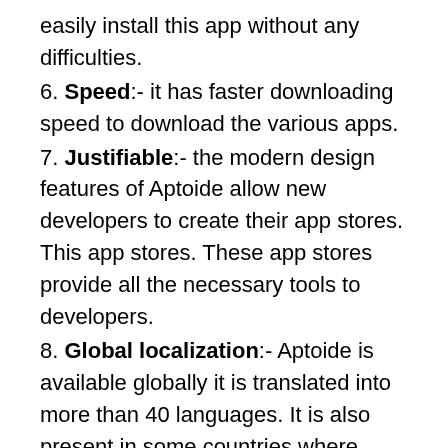easily install this app without any difficulties.
6. Speed:- it has faster downloading speed to download the various apps.
7. Justifiable:- the modern design features of Aptoide allow new developers to create their app stores. This app stores. These app stores provide all the necessary tools to developers.
8. Global localization:- Aptoide is available globally it is translated into more than 40 languages. It is also present in some countries where Google play store has a limited presence eg Iran, china, etc.
9. Purchasable:- it allows its users to make purchases not only with credit cards but also via localized payment systems.
Conclusion